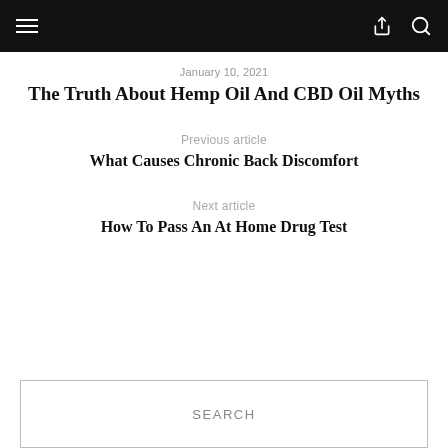☰  ↗  🔍
January 10, 2021
The Truth About Hemp Oil And CBD Oil Myths
Previous article
What Causes Chronic Back Discomfort
Next article
How To Pass An At Home Drug Test
SEARCH